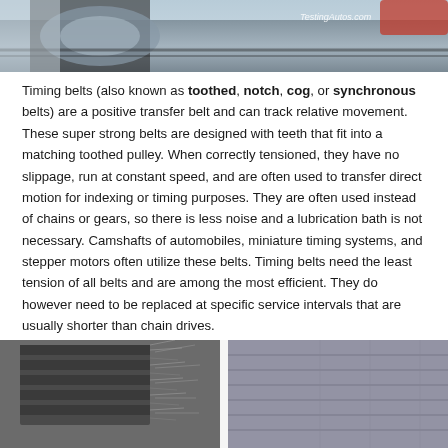[Figure (photo): Close-up photo of a timing belt and engine components, with TestingAutos.com watermark in top right corner]
Timing belts (also known as toothed, notch, cog, or synchronous belts) are a positive transfer belt and can track relative movement. These super strong belts are designed with teeth that fit into a matching toothed pulley. When correctly tensioned, they have no slippage, run at constant speed, and are often used to transfer direct motion for indexing or timing purposes. They are often used instead of chains or gears, so there is less noise and a lubrication bath is not necessary. Camshafts of automobiles, miniature timing systems, and stepper motors often utilize these belts. Timing belts need the least tension of all belts and are among the most efficient. They do however need to be replaced at specific service intervals that are usually shorter than chain drives.
[Figure (photo): Two photos side by side at the bottom: left shows a damaged/frayed timing belt, right shows a worn/used timing belt surface]